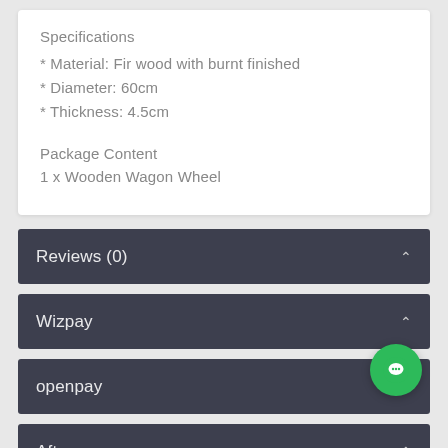Specifications
* Material: Fir wood with burnt finished
* Diameter: 60cm
* Thickness: 4.5cm
Package Content
1 x Wooden Wagon Wheel
Reviews (0)
Wizpay
openpay
Afterpay